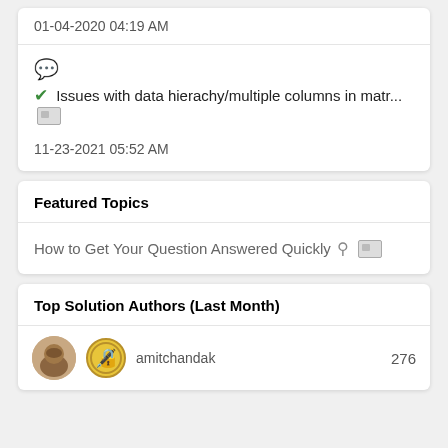01-04-2020 04:19 AM
Issues with data hierachy/multiple columns in matr... [image]
11-23-2021 05:52 AM
Featured Topics
How to Get Your Question Answered Quickly [link] [image]
Top Solution Authors (Last Month)
amitchandak 276